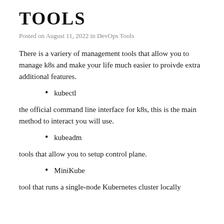TOOLS
Posted on August 11, 2022 in DevOps Tools
There is a variery of management tools that allow you to manage k8s and make your life much easier to proivde extra additional features.
kubectl
the official command line interface for k8s, this is the main method to interact you will use.
kubeadm
tools that allow you to setup control plane.
MiniKube
tool that runs a single-node Kubernetes cluster locally